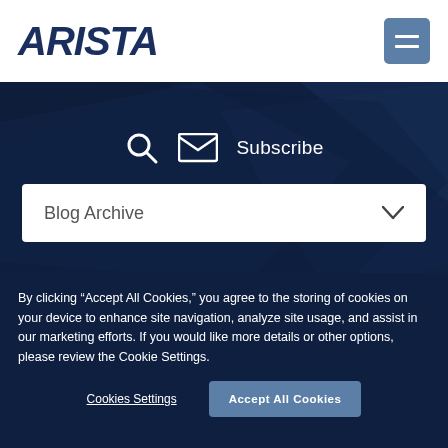ARISTA
[Figure (screenshot): Arista website header with dark navy blue background, search icon, envelope/subscribe icon, Subscribe text, and Blog Archive dropdown selector]
By clicking “Accept All Cookies,” you agree to the storing of cookies on your device to enhance site navigation, analyze site usage, and assist in our marketing efforts. If you would like more details or other options, please review the Cookie Settings.
Cookies Settings
Accept All Cookies